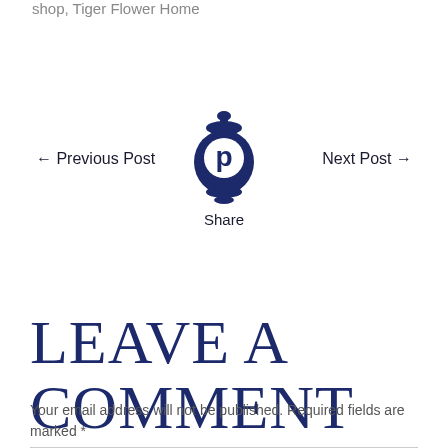shop, Tiger Flower Home
[Figure (illustration): Pinterest icon styled as a decorative lantern/vase shape in dark navy blue]
← Previous Post
Next Post →
Share
Leave a comment
Your email address will not be published. Required fields are marked *